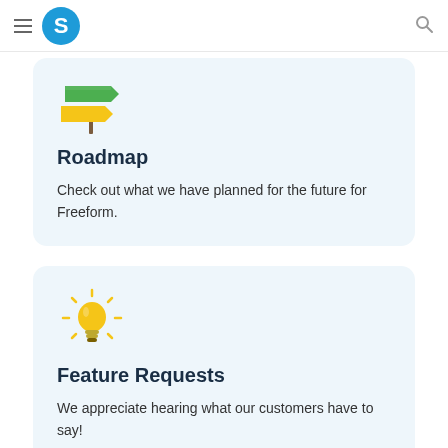S [logo] [hamburger menu] [search]
[Figure (illustration): Signpost / roadmap direction signs icon with green and yellow arrow signs on a post]
Roadmap
Check out what we have planned for the future for Freeform.
[Figure (illustration): Yellow glowing lightbulb icon with rays]
Feature Requests
We appreciate hearing what our customers have to say!